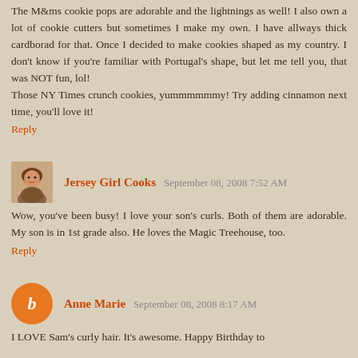The M&ms cookie pops are adorable and the lightnings as well! I also own a lot of cookie cutters but sometimes I make my own. I have allways thick cardborad for that. Once I decided to make cookies shaped as my country. I don't know if you're familiar with Portugal's shape, but let me tell you, that was NOT fun, lol!
Those NY Times crunch cookies, yummmmmmy! Try adding cinnamon next time, you'll love it!
Reply
Jersey Girl Cooks  September 08, 2008 7:52 AM
Wow, you've been busy! I love your son's curls. Both of them are adorable. My son is in 1st grade also. He loves the Magic Treehouse, too.
Reply
Anne Marie  September 08, 2008 8:17 AM
I LOVE Sam's curly hair. It's awesome. Happy Birthday to